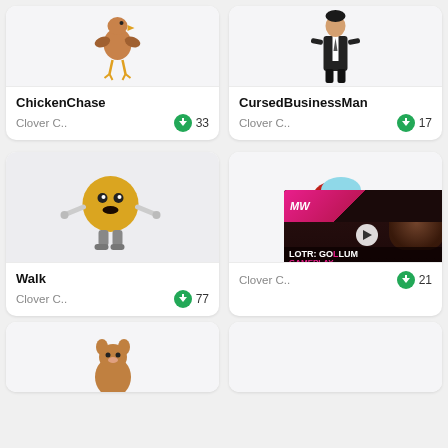[Figure (screenshot): Game asset card for ChickenChase showing a chicken character image (partially cropped at top), with title and download count]
ChickenChase
Clover C..   33
[Figure (screenshot): Game asset card for CursedBusinessMan showing a suited figure (partially cropped at top), with title and download count]
CursedBusinessMan
Clover C..   17
[Figure (screenshot): Game asset card for Walk showing a yellow M&M-like character, with title and download count]
Walk
Clover C..   77
[Figure (screenshot): Game asset card showing an Among Us red character, overlaid with a LOTR: Gollum Gameplay Trailer video banner from MW]
Clover C..   21
[Figure (screenshot): Partial card at bottom left showing a brown animal character (cropped)]
[Figure (screenshot): Partial card at bottom right (empty/no content visible)]